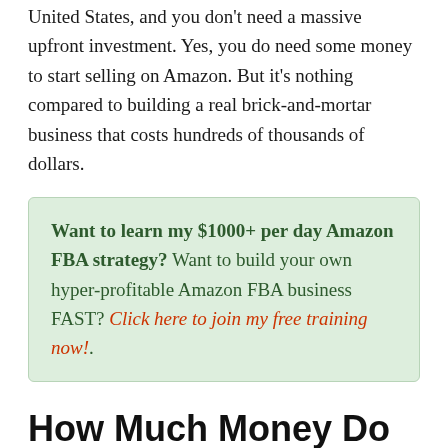United States, and you don't need a massive upfront investment. Yes, you do need some money to start selling on Amazon. But it's nothing compared to building a real brick-and-mortar business that costs hundreds of thousands of dollars.
Want to learn my $1000+ per day Amazon FBA strategy? Want to build your own hyper-profitable Amazon FBA business FAST? Click here to join my free training now!.
How Much Money Do You Need To Launch An